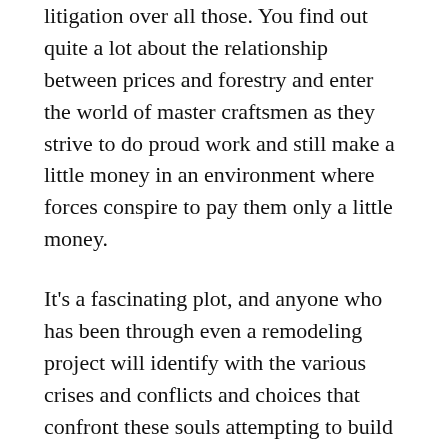litigation over all those. You find out quite a lot about the relationship between prices and forestry and enter the world of master craftsmen as they strive to do proud work and still make a little money in an environment where forces conspire to pay them only a little money.
It's a fascinating plot, and anyone who has been through even a remodeling project will identify with the various crises and conflicts and choices that confront these souls attempting to build a nice new house outside Amherst, Mass. The only thing I missed were tales of the permit and inspection process. Of course, this book is set in 1983 Massachusetts, so perhaps it wasn't worth mentioning (because it certainly wasn't mentioned except twice, with no blowback.), however, any project I've been around personally, and many projects my plumbing contractor sister has been